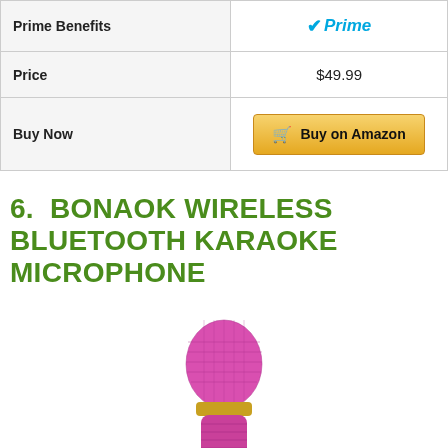|  |  |
| --- | --- |
| Prime Benefits | Prime |
| Price | $49.99 |
| Buy Now | Buy on Amazon |
6. BONAOK WIRELESS BLUETOOTH KARAOKE MICROPHONE
[Figure (photo): Pink BONAOK wireless Bluetooth karaoke microphone with metallic mesh head and decorative grip handle]